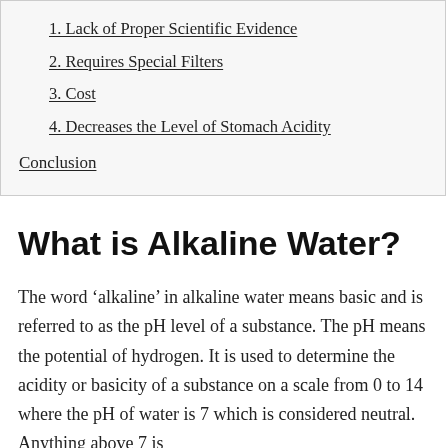1. Lack of Proper Scientific Evidence
2. Requires Special Filters
3. Cost
4. Decreases the Level of Stomach Acidity
Conclusion
What is Alkaline Water?
The word ‘alkaline’ in alkaline water means basic and is referred to as the pH level of a substance. The pH means the potential of hydrogen. It is used to determine the acidity or basicity of a substance on a scale from 0 to 14 where the pH of water is 7 which is considered neutral. Anything above 7 is